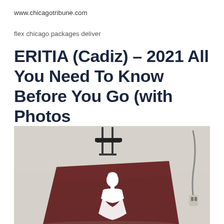www.chicagotribune.com
flex chicago packages deliver
ERITIA (Cadiz) – 2021 All You Need To Know Before You Go (with Photos
[Figure (photo): Indoor photo showing a dark reddish-brown rectangular panel on a white/grey floor with a white silhouette figure printed on it. In the background there is a metal chair and a cable/cord visible on the right side.]